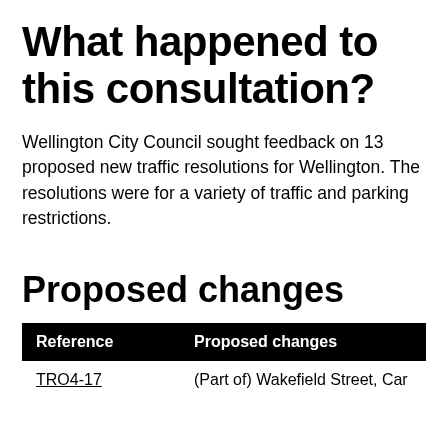What happened to this consultation?
Wellington City Council sought feedback on 13 proposed new traffic resolutions for Wellington. The resolutions were for a variety of traffic and parking restrictions.
Proposed changes
| Reference | Proposed changes |
| --- | --- |
| TRO4-17 | (Part of) Wakefield Street, Car |